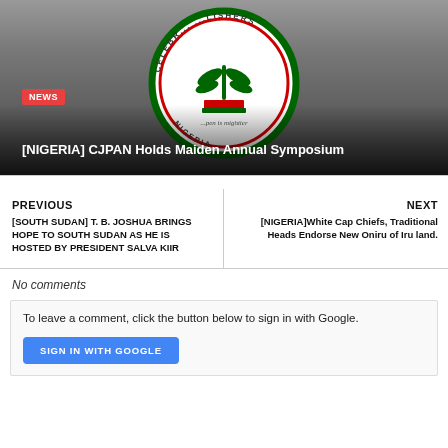[Figure (logo): CJPAN circular logo with green plant/feather motif, Nigerian flag colors (green/white/red), text around border reading CELEBR... ...LISHERS NIGERIA, with tagline ...pen is mightier, on dark overlay background]
NEWS
[NIGERIA] CJPAN Holds Maiden Annual Symposium
PREVIOUS
[SOUTH SUDAN] T. B. JOSHUA BRINGS HOPE TO SOUTH SUDAN AS HE IS HOSTED BY PRESIDENT SALVA KIIR
NEXT
[NIGERIA]White Cap Chiefs, Traditional Heads Endorse New Oniru of Iru land.
No comments
To leave a comment, click the button below to sign in with Google.
SIGN IN WITH GOOGLE